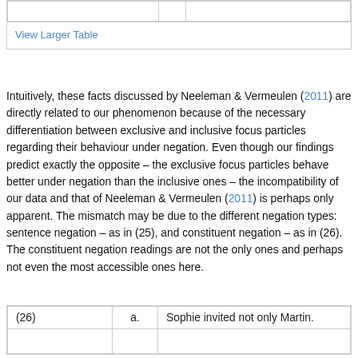|  |  |  |
Intuitively, these facts discussed by Neeleman & Vermeulen (2011) are directly related to our phenomenon because of the necessary differentiation between exclusive and inclusive focus particles regarding their behaviour under negation. Even though our findings predict exactly the opposite – the exclusive focus particles behave better under negation than the inclusive ones – the incompatibility of our data and that of Neeleman & Vermeulen (2011) is perhaps only apparent. The mismatch may be due to the different negation types: sentence negation – as in (25), and constituent negation – as in (26). The constituent negation readings are not the only ones and perhaps not even the most accessible ones here.
| (26) | a. | Sophie invited not only Martin. |